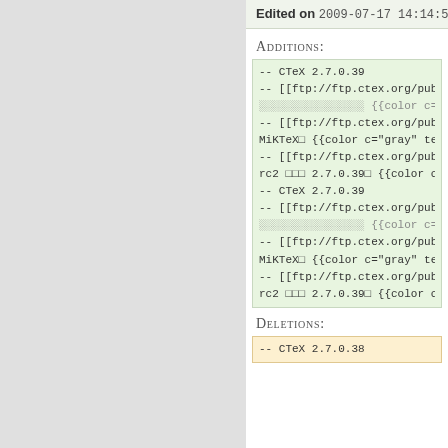Edited on 2009-07-17 14:14:54 by LeoAloft
Additions:
-- CTeX 2.7.0.39
-- [[ftp://ftp.ctex.org/pub/tex/systems/c...
░░░░░░░░░░░░░░░░ {{color c="gray" text=...
-- [[ftp://ftp.ctex.org/pub/tex/systems/c...
MiKTeX□ {{color c="gray" text="MD5:0cd7a4...
-- [[ftp://ftp.ctex.org/pub/tex/systems/c...
rc2 □□□ 2.7.0.39□ {{color c="gray" text="...
-- CTeX 2.7.0.39
-- [[ftp://ftp.ctex.org/pub/tex/systems/c...
░░░░░░░░░░░░░░░░ {{color c="gray" text=...
-- [[ftp://ftp.ctex.org/pub/tex/systems/c...
MiKTeX□ {{color c="gray" text="MD5:0cd7a4...
-- [[ftp://ftp.ctex.org/pub/tex/systems/c...
rc2 □□□ 2.7.0.39□ {{color c="gray" text="...
Deletions:
-- CTeX 2.7.0.38